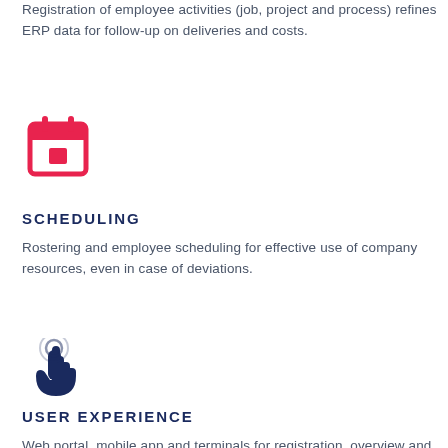Registration of employee activities (job, project and process) refines ERP data for follow-up on deliveries and costs.
[Figure (illustration): Pink/red calendar icon with a small square in the center]
SCHEDULING
Rostering and employee scheduling for effective use of company resources, even in case of deviations.
[Figure (illustration): Dark navy blue touch/finger pointer icon]
USER EXPERIENCE
Web portal, mobile app and terminals for registration, overview and appro...